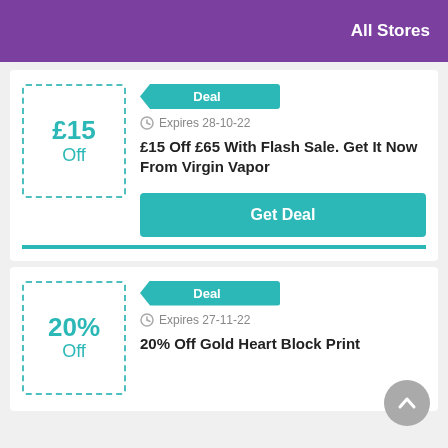All Stores
Deal
Expires 28-10-22
£15 Off £65 With Flash Sale. Get It Now From Virgin Vapor
Get Deal
Deal
Expires 27-11-22
20% Off Gold Heart Block Print